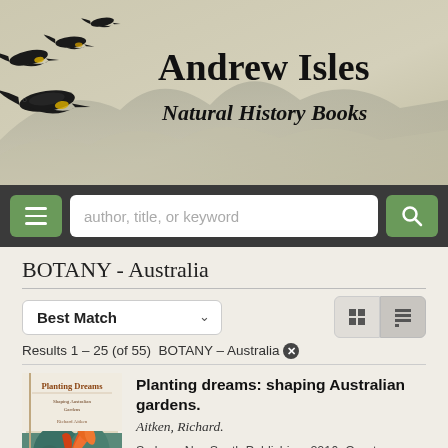[Figure (illustration): Andrew Isles Natural History Books website header with black cockatoos flying on left, mountains silhouette background, and bold serif text on right]
Andrew Isles Natural History Books
[Figure (screenshot): Navigation bar with hamburger menu button, search input placeholder 'author, title, or keyword', and search button]
BOTANY - Australia
Best Match (sort dropdown), grid and list view toggle buttons
Results 1 - 25 (of 55)  BOTANY - Australia ✕
Planting dreams: shaping Australian gardens.
Aitken, Richard.
Sydney: NewSouth Publishing, 2016. Quarto, dustwrapper, colour photographs, illustrations.